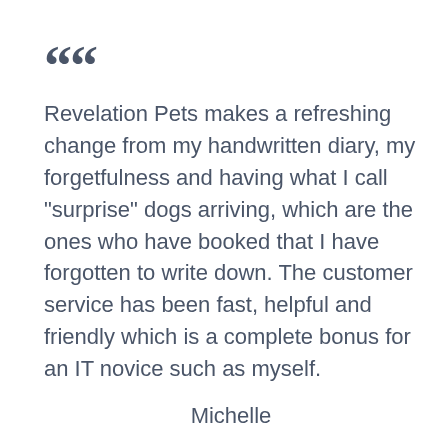““ Revelation Pets makes a refreshing change from my handwritten diary, my forgetfulness and having what I call "surprise" dogs arriving, which are the ones who have booked that I have forgotten to write down. The customer service has been fast, helpful and friendly which is a complete bonus for an IT novice such as myself.
Michelle